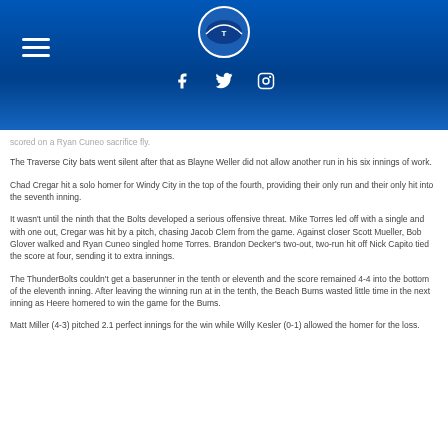ThunderBolts website header with logo, hamburger menu, and social icons (Facebook, Twitter, Instagram)
scored on a Ryan Cuneo sacrifice fly.
The Traverse City bats went silent after that as Blayne Weller did not allow another run in his six innings of work.
Chad Cregar hit a solo homer for Windy City in the top of the fourth, providing their only run and their only hit into the seventh inning.
It wasn't until the ninth that the Bolts developed a serious offensive threat. Mike Torres led off with a single and with one out, Cregar was hit by a pitch, chasing Jacob Clem from the game. Against closer Scott Mueller, Bob Glover walked and Ryan Cuneo singled home Torres. Brandon Decker's two-out, two-run hit off Nick Capito tied the score at four, sending it to extra innings.
The ThunderBolts couldn't get a baserunner in the tenth or eleventh and the score remained 4-4 into the bottom of the eleventh inning. After leaving the winning run at in the tenth, the Beach Bums wasted little time in the next inning as Heere homered to win the game for the Bums.
Matt Miller (4-3) pitched 2.1 perfect innings for the win while Willy Kesler (0-1) allowed the homer for the loss.